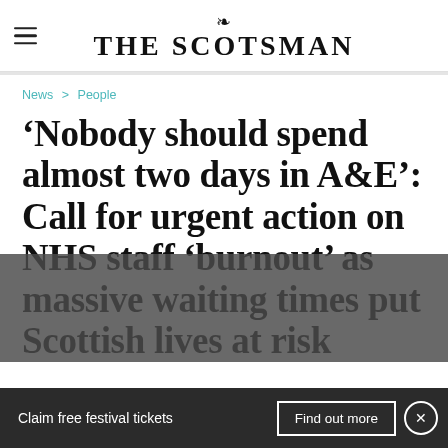THE SCOTSMAN
News > People
'Nobody should spend almost two days in A&E': Call for urgent action on NHS staff 'burnout' as massive waiting times put Scottish lives at risk
Claim free festival tickets   Find out more   ×